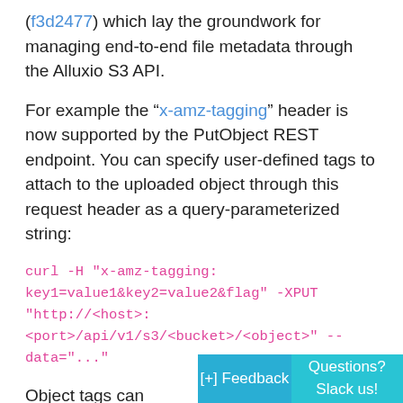(f3d2477) which lay the groundwork for managing end-to-end file metadata through the Alluxio S3 API.
For example the “x-amz-tagging” header is now supported by the PutObject REST endpoint. You can specify user-defined tags to attach to the uploaded object through this request header as a query-parameterized string:
curl -H "x-amz-tagging: key1=value1&key2=value2&flag" -XPUT "http://<host>:<port>/api/v1/s3/<bucket>/<object>" --data="..."
Object tags can